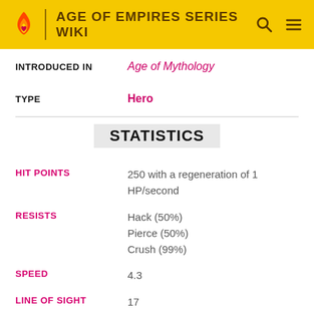AGE OF EMPIRES SERIES WIKI
INTRODUCED IN: Age of Mythology
TYPE: Hero
STATISTICS
HIT POINTS: 250 with a regeneration of 1 HP/second
RESISTS: Hack (50%) Pierce (50%) Crush (99%)
SPEED: 4.3
LINE OF SIGHT: 17